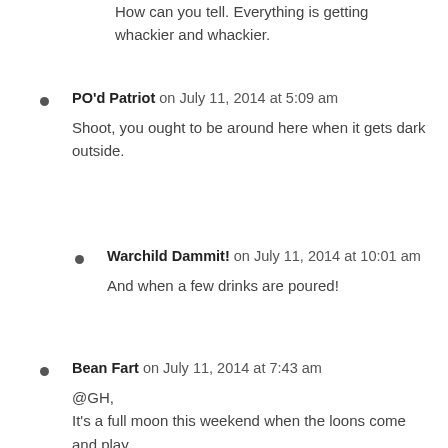How can you tell. Everything is getting whackier and whackier.
PO'd Patriot on July 11, 2014 at 5:09 am
Shoot, you ought to be around here when it gets dark outside.
Warchild Dammit! on July 11, 2014 at 10:01 am
And when a few drinks are poured!
Bean Fart on July 11, 2014 at 7:43 am
@GH,
It's a full moon this weekend when the loons come and play.